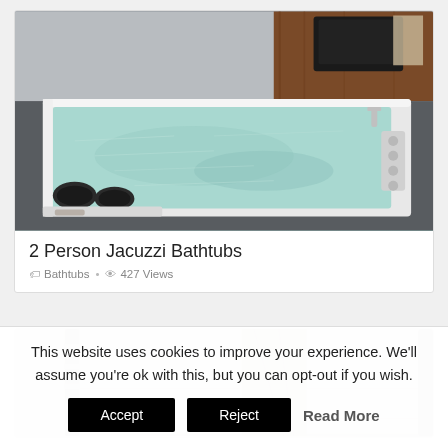[Figure (photo): Overhead view of a large square white jacuzzi bathtub with light blue/teal water, black headrests, chrome controls on the right side, set in a dark grey tiled surround with wood paneling and a small table in the background]
2 Person Jacuzzi Bathtubs
🏷 Bathtubs · 👁 427 Views
[Figure (photo): Corner section of what appears to be a wicker/rattan outdoor sofa or spa seating with cream/white cushions, viewed from above at an angle]
This website uses cookies to improve your experience. We'll assume you're ok with this, but you can opt-out if you wish.
Accept   Reject   Read More